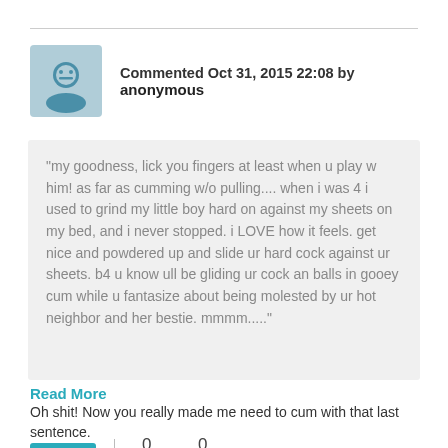Commented Oct 31, 2015 22:08 by anonymous
“my goodness, lick you fingers at least when u play w him! as far as cumming w/o pulling.... when i was 4 i used to grind my little boy hard on against my sheets on my bed, and i never stopped. i LOVE how it feels. get nice and powdered up and slide ur hard cock against ur sheets. b4 u know ull be gliding ur cock an balls in gooey cum while u fantasize about being molested by ur hot neighbor and her bestie. mmmm....."
Read More
Oh shit! Now you really made me need to cum with that last sentence.
+ Reply | 0 0 0